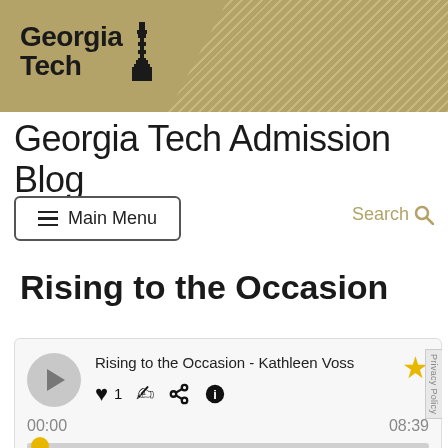[Figure (logo): Georgia Tech logo with tower icon on gold/tan banner background with diagonal stripe pattern]
Georgia Tech Admission Blog
Main Menu
Search
Rising to the Occasion
[Figure (screenshot): Audio player widget showing 'Rising to the Occasion - Kathleen Voss' with play button, heart (1), comment, share, info icons, star rating, time 00:00 / 08:39, and progress bar with gold dot at start]